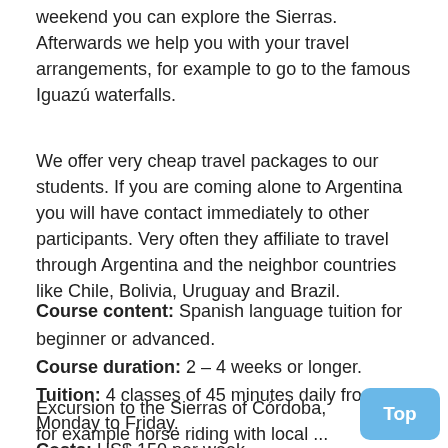weekend you can explore the Sierras. Afterwards we help you with your travel arrangements, for example to go to the famous Iguazú waterfalls.
We offer very cheap travel packages to our students. If you are coming alone to Argentina you will have contact immediately to other participants. Very often they affiliate to travel through Argentina and the neighbor countries like Chile, Bolivia, Uruguay and Brazil.
Course content: Spanish language tuition for beginner or advanced.
Course duration: 2 – 4 weeks or longer.
Tuition: 4 classes of 45 minutes daily from Monday to Friday.
Costs: US$ 150 per week.
Excursion to the Sierras of Córdoba, for example horse riding with local ... US$ 50...